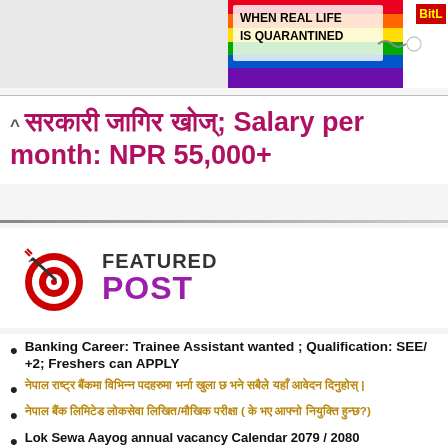[Figure (illustration): Rainbow-colored banner with text 'WHEN REAL LIFE IS QUARANTINED' and 'BitL' logo on the right side]
सरकारी जागिर खोज्; Salary per month: NPR 55,000+
[Figure (logo): Featured Post logo — red and white bullseye target with dart, text 'FEATURED POST' in dark gray and purple]
Banking Career: Trainee Assistant wanted ; Qualification: SEE/ +2; Freshers can APPLY
नेपाल राष्ट्र बैंकमा विभिन्न पदहरुमा भर्ना खुला | (Devanagari)
नेपाल बैंक लिमिटेड लोकसेवा लिखित/मौखिक परीक्षा ( के भए आफ्नो नियुक्ति हुन्छ?)
Lok Sewa Aayog annual vacancy Calendar 2079 / 2080